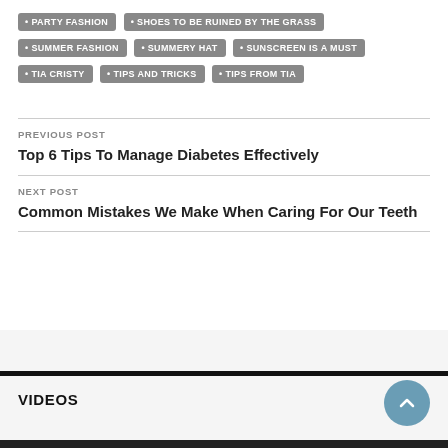PARTY FASHION
SHOES TO BE RUINED BY THE GRASS
SUMMER FASHION
SUMMERY HAT
SUNSCREEN IS A MUST
TIA CRISTY
TIPS AND TRICKS
TIPS FROM TIA
PREVIOUS POST
Top 6 Tips To Manage Diabetes Effectively
NEXT POST
Common Mistakes We Make When Caring For Our Teeth
VIDEOS